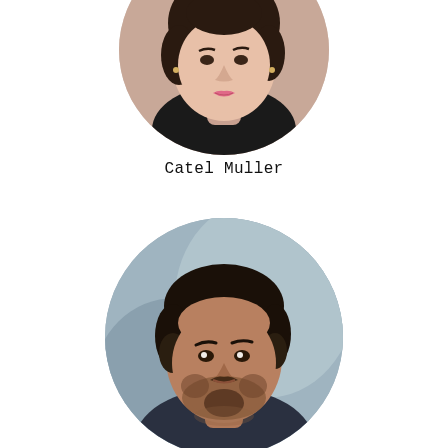[Figure (photo): Circular cropped portrait photo of a woman with dark hair wearing a black turtleneck, partially visible at top of page (upper half of circle shown)]
Catel Muller
[Figure (photo): Circular cropped portrait photo of a young man with short dark hair and beard, wearing a dark top, against a grey-blue background]